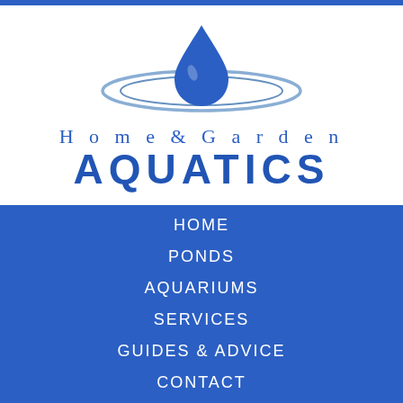[Figure (logo): Home & Garden Aquatics logo with a blue water droplet above a ripple ellipse, and the brand name below]
HOME
PONDS
AQUARIUMS
SERVICES
GUIDES & ADVICE
CONTACT